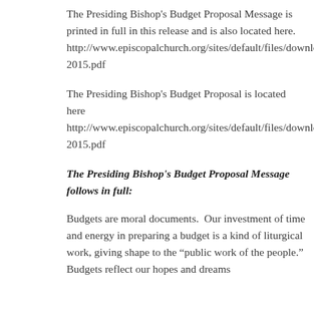The Presiding Bishop's Budget Proposal Message is printed in full in this release and is also located here. http://www.episcopalchurch.org/sites/default/files/downloa 2015.pdf
The Presiding Bishop's Budget Proposal is located here http://www.episcopalchurch.org/sites/default/files/downloa 2015.pdf
The Presiding Bishop's Budget Proposal Message follows in full:
Budgets are moral documents.  Our investment of time and energy in preparing a budget is a kind of liturgical work, giving shape to the “public work of the people.”  Budgets reflect our hopes and dreams